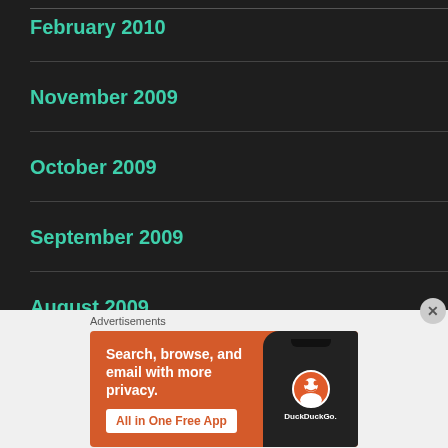February 2010
November 2009
October 2009
September 2009
August 2009
July 2009
Advertisements
[Figure (screenshot): DuckDuckGo advertisement banner: orange background with text 'Search, browse, and email with more privacy. All in One Free App' and a phone showing the DuckDuckGo app]